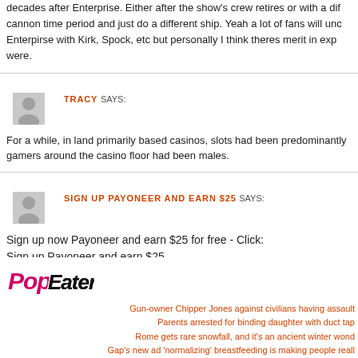decades after Enterprise. Either after the show's crew retires or with a different cannon time period and just do a different ship. Yeah a lot of fans will uncompare Enterpirse with Kirk, Spock, etc but personally I think theres merit in exploring what they were.
[Figure (illustration): Grey avatar placeholder icon for user TRACY]
TRACY SAYS:
For a while, in land primarily based casinos, slots had been predominantly gamers around the casino floor had been males.
[Figure (illustration): Grey avatar placeholder icon for user SIGN UP PAYONEER AND EARN $25]
SIGN UP PAYONEER AND EARN $25 SAYS:
Sign up now Payoneer and earn $25 for free - Click:
Sign up Payoneer and earn $25
[Figure (logo): PopEater logo in pink and black stylized text]
Gun-owner Chipper Jones against civilians having assault
Parents arrested for binding daughter with duct tap
Rome gets rare snowfall, and it's an ancient winter wond
Gap's new ad 'normalizing' breastfeeding is making people reall